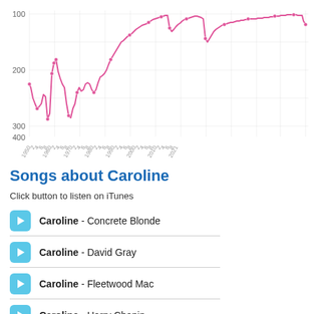[Figure (continuous-plot): Line chart showing a trend over years from 1950 to 2021. Y-axis is inverted (rank), ranging from 100 at top to 400 at bottom. The pink/magenta line starts around rank 250 in 1950, drops to ~340 by 1952, rises to ~200 by 1960s, drops again to ~340 in mid-1960s, rises sharply to ~200 by late 1960s, then gradually climbs to rank ~100 by 2010s, with a slight dip near 2019-2020, ending around 110 in 2021.]
Songs about Caroline
Click button to listen on iTunes
Caroline - Concrete Blonde
Caroline - David Gray
Caroline - Fleetwood Mac
Caroline - Harry Chapin